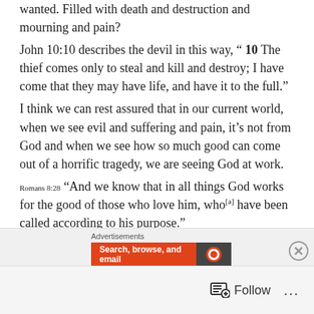wanted. Filled with death and destruction and mourning and pain?
John 10:10 describes the devil in this way, “ 10 The thief comes only to steal and kill and destroy; I have come that they may have life, and have it to the full.”
I think we can rest assured that in our current world, when we see evil and suffering and pain, it’s not from God and when we see how so much good can come out of a horrific tragedy, we are seeing God at work.
Romans 8:28 “And we know that in all things God works for the good of those who love him, who[a] have been called according to his purpose.”
I don’t believe God orchestrated the Columbine
Advertisements
[Figure (screenshot): Advertisement banner with orange background reading 'Search, browse, and email' and dark section with DuckDuckGo-style icon]
Follow ...